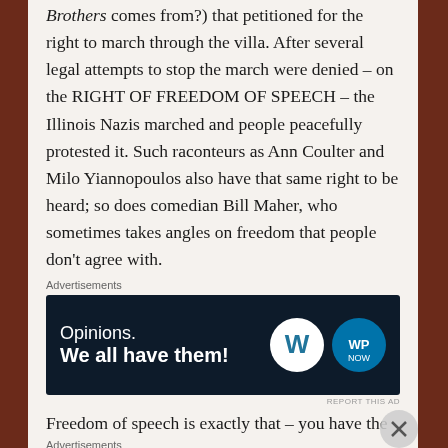Brothers comes from?) that petitioned for the right to march through the villa. After several legal attempts to stop the march were denied – on the RIGHT OF FREEDOM OF SPEECH – the Illinois Nazis marched and people peacefully protested it. Such raconteurs as Ann Coulter and Milo Yiannopoulos also have that same right to be heard; so does comedian Bill Maher, who sometimes takes angles on freedom that people don't agree with.
[Figure (screenshot): WordPress advertisement banner: 'Opinions. We all have them!' with WordPress and WP Now logos on dark navy background]
Freedom of speech is exactly that – you have the
[Figure (screenshot): DuckDuckGo advertisement: 'Search, browse, and email with more privacy. All in One Free App' with DuckDuckGo logo on orange and dark background]